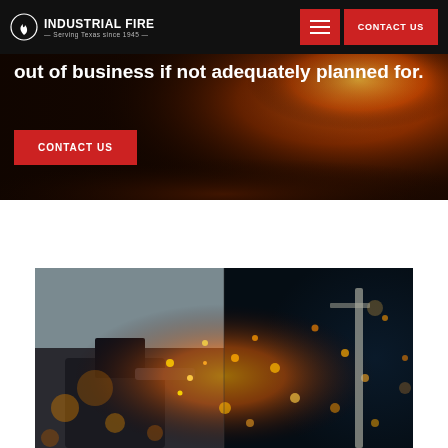[Figure (screenshot): Industrial Fire website screenshot showing navigation bar with logo ('Industrial Fire — Serving Texas since 1945'), hamburger menu button, and red CONTACT US button on black background]
out of business if not adequately planned for.
[Figure (photo): Red CONTACT US button on dark hero background with fire/flames visible]
[Figure (photo): Worker using welding/grinding tool with bright orange sparks flying, bokeh background showing sparks and industrial equipment]